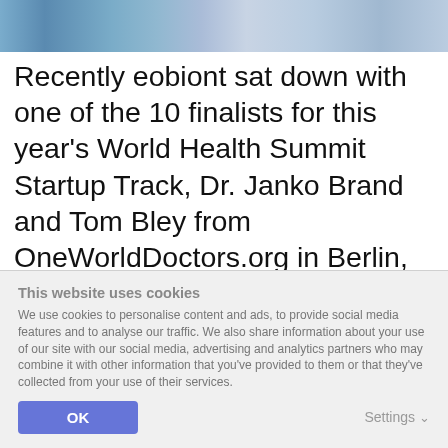[Figure (photo): Partial photo of two people in blue/light clothing, cropped at the top of the page]
Recently eobiont sat down with one of the 10 finalists for this year's World Health Summit Startup Track, Dr. Janko Brand and Tom Bley from OneWorldDoctors.org in Berlin, to find out about their concept, their impressions on being a finalist and what this opportunity would mean to them.
This website uses cookies
We use cookies to personalise content and ads, to provide social media features and to analyse our traffic. We also share information about your use of our site with our social media, advertising and analytics partners who may combine it with other information that you've provided to them or that they've collected from your use of their services.
OK
Settings